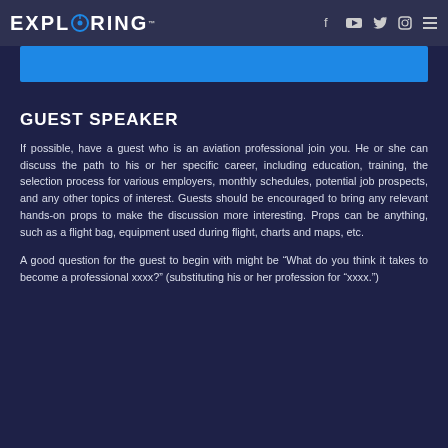EXPLORING
[Figure (other): Blue banner strip below navigation bar]
GUEST SPEAKER
If possible, have a guest who is an aviation professional join you. He or she can discuss the path to his or her specific career, including education, training, the selection process for various employers, monthly schedules, potential job prospects, and any other topics of interest. Guests should be encouraged to bring any relevant hands-on props to make the discussion more interesting. Props can be anything, such as a flight bag, equipment used during flight, charts and maps, etc.
A good question for the guest to begin with might be “What do you think it takes to become a professional xxxx?” (substituting his or her profession for “xxxx.”)